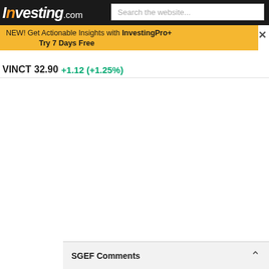Investing.com | Search the website...
NEW! Get Actionable Insights with InvestingPro+ Try 7 Days Free
VINCT 32.90 +1.12 (+1.25%)
SGEF Comments